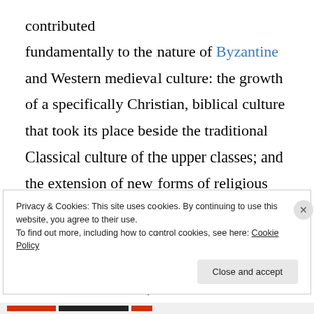contributed fundamentally to the nature of Byzantine and Western medieval culture: the growth of a specifically Christian, biblical culture that took its place beside the traditional Classical culture of the upper classes; and the extension of new forms of religious patronage between the secular governing classes and bishops, Christian intellectuals and holy men. Constantine left much for his successors to do, but it was his personal
Privacy & Cookies: This site uses cookies. By continuing to use this website, you agree to their use. To find out more, including how to control cookies, see here: Cookie Policy